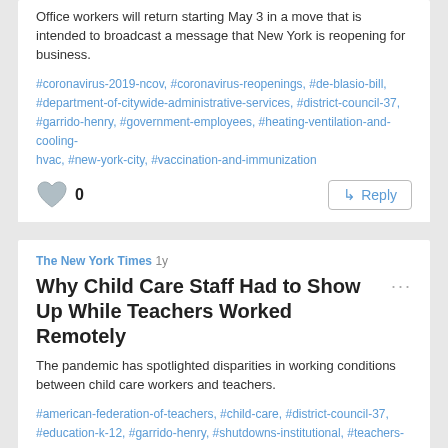Office workers will return starting May 3 in a move that is intended to broadcast a message that New York is reopening for business.
#coronavirus-2019-ncov, #coronavirus-reopenings, #de-blasio-bill, #department-of-citywide-administrative-services, #district-council-37, #garrido-henry, #government-employees, #heating-ventilation-and-cooling-hvac, #new-york-city, #vaccination-and-immunization
0
Reply
The New York Times 1y
Why Child Care Staff Had to Show Up While Teachers Worked Remotely
The pandemic has spotlighted disparities in working conditions between child care workers and teachers.
#american-federation-of-teachers, #child-care, #district-council-37, #education-k-12, #garrido-henry, #shutdowns-institutional, #teachers-and-school-employees, #weingarten-randi, #workplace-hazards-and-violations
0
Reply
The New York Times 2y
Natural History Museum Union Files Complaint Over Coronavirus App